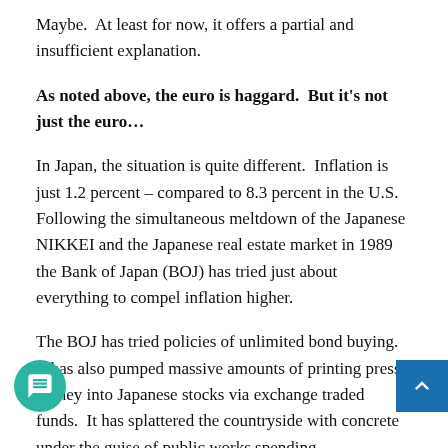Maybe.  At least for now, it offers a partial and insufficient explanation.
As noted above, the euro is haggard.  But it's not just the euro…
In Japan, the situation is quite different.  Inflation is just 1.2 percent – compared to 8.3 percent in the U.S.  Following the simultaneous meltdown of the Japanese NIKKEI and the Japanese real estate market in 1989 the Bank of Japan (BOJ) has tried just about everything to compel inflation higher.
The BOJ has tried policies of unlimited bond buying.  It has also pumped massive amounts of printing press money into Japanese stocks via exchange traded funds.  It has splattered the countryside with concrete under the guise of public works spending.